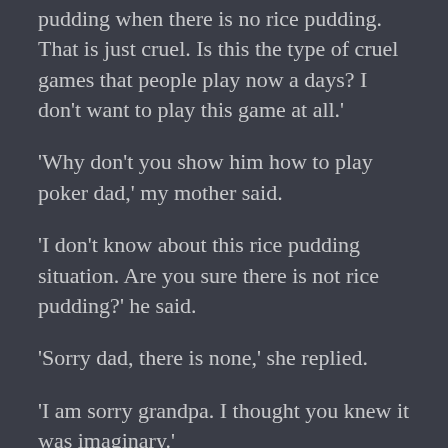pudding when there is no rice pudding. That is just cruel. Is this the type of cruel games that people play now a days? I don't want to play this game at all.'
'Why don't you show him how to play poker dad,' my mother said.
'I don't know about this rice pudding situation. Are you sure there is not rice pudding?' he said.
'Sorry dad, there is none,' she replied.
'I am sorry grandpa. I thought you knew it was imaginary.'
'Well don't do cruel things like that anymore Gene.